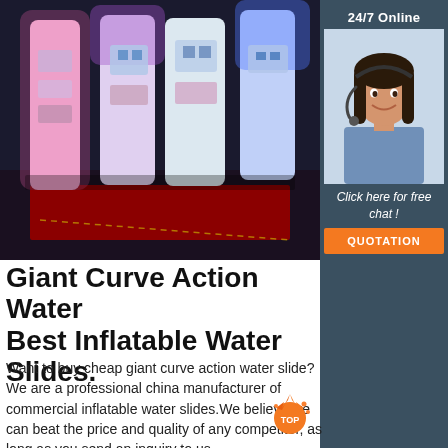[Figure (photo): Large inflatable white structure with colorful LED lighting (pink, purple, blue) on a red carpet floor in a dark venue]
[Figure (photo): Sidebar: 24/7 Online customer service representative - smiling woman wearing headset, with 'Click here for free chat!' text and orange QUOTATION button]
Giant Curve Action Water Best Inflatable Water Slides.
Want to buy cheap giant curve action water slide? We are a professional china manufacturer of commercial inflatable water slides.We believe we can beat the price and quality of any competitor, as long as you send an inquiry to us,
[Figure (illustration): Orange and red 'TOP' badge/watermark in bottom right area]